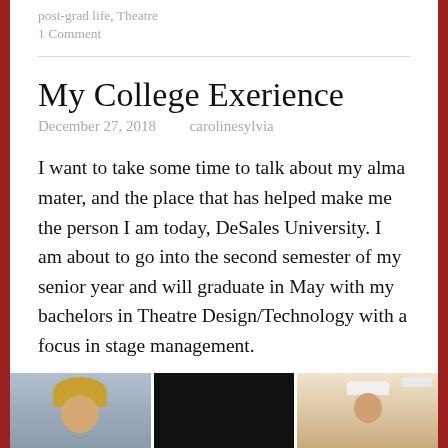post-grad life, Theatre
1 Comment
My College Exerience
December 27, 2018   carolinesylvia
I want to take some time to talk about my alma mater, and the place that has helped make me the person I am today, DeSales University. I am about to go into the second semester of my senior year and will graduate in May with my bachelors in Theatre Design/Technology with a focus in stage management.
[Figure (photo): Three side-by-side photos: first shows a person with curly blonde hair against a blue-grey background, second is a dark/black image, third shows a person wearing a white hat with a ceiling light panel visible.]